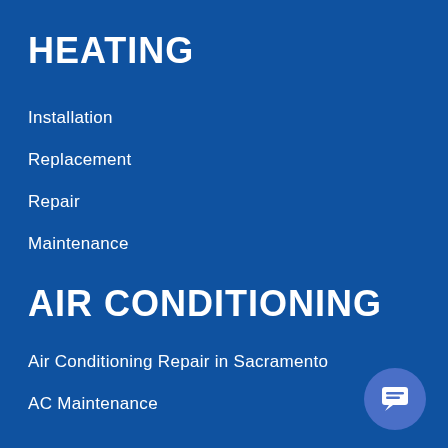HEATING
Installation
Replacement
Repair
Maintenance
AIR CONDITIONING
Air Conditioning Repair in Sacramento
AC Maintenance